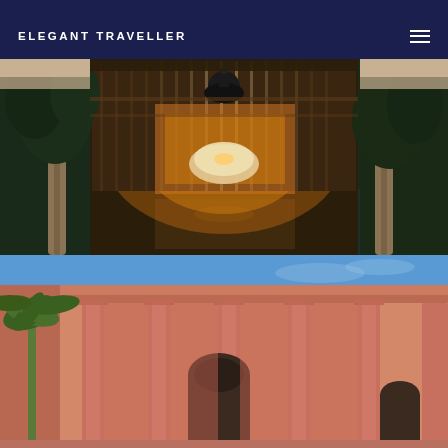ELEGANT TRAVELLER
[Figure (photo): Luxury resort interior photograph showing a pool pavilion with warm amber lighting, black decorative vase suspended above, white dining table, tropical trees flanking both sides, and slatted wood screens in the background]
[Figure (photo): Exterior architecture photograph of a terracotta-pink building with Moroccan-style arched doorways and columns, palm trees visible on the left, blue sky in background]